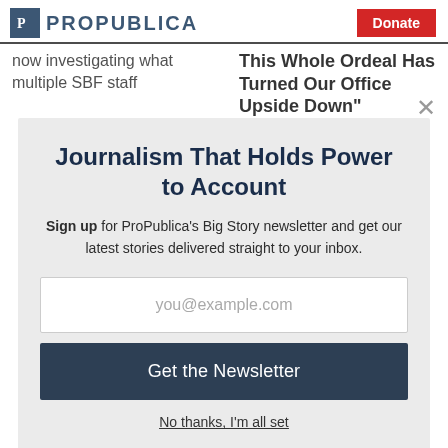ProPublica — Donate
now investigating what multiple SBF staff
This Whole Ordeal Has Turned Our Office Upside Down"
Journalism That Holds Power to Account
Sign up for ProPublica's Big Story newsletter and get our latest stories delivered straight to your inbox.
you@example.com
Get the Newsletter
No thanks, I'm all set
This site is protected by reCAPTCHA and the Google Privacy Policy and Terms of Service apply.